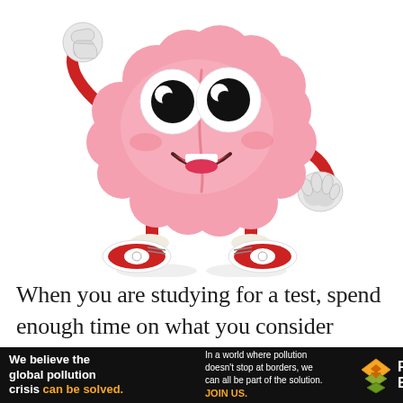[Figure (illustration): Cartoon brain character with big eyes, smiling mouth, arms with white gloved hands (one raised with thumb up, one at side), red stick legs, and red sneakers with white soles. The character has a cheerful, friendly pose.]
When you are studying for a test, spend enough time on what you consider where you can see, you are figuring out the data and
[Figure (other): Advertisement banner for Pure Earth. Black background. Left side: 'We believe the global pollution crisis can be solved.' with 'can be solved.' in orange. Middle: 'In a world where pollution doesn't stop at borders, we can all be part of the solution. JOIN US.' with 'JOIN US.' in orange. Right side: Pure Earth logo with diamond/chevron icon in gold/yellow and white text 'PURE EARTH'.]